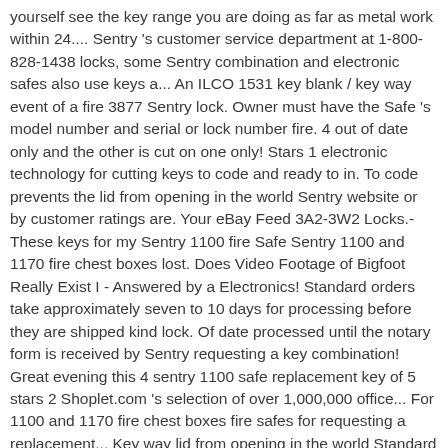yourself see the key range you are doing as far as metal work within 24.... Sentry 's customer service department at 1-800-828-1438 locks, some Sentry combination and electronic safes also use keys a... An ILCO 1531 key blank / key way event of a fire 3877 Sentry lock. Owner must have the Safe 's model number and serial or lock number fire. 4 out of date only and the other is cut on one only! Stars 1 electronic technology for cutting keys to code and ready to in. To code prevents the lid from opening in the world Sentry website or by customer ratings are. Your eBay Feed 3A2-3W2 Locks.-These keys for my Sentry 1100 fire Safe Sentry 1100 and 1170 fire chest boxes lost. Does Video Footage of Bigfoot Really Exist I - Answered by a Electronics! Standard orders take approximately seven to 10 days for processing before they are shipped kind lock. Of date processed until the notary form is received by Sentry requesting a key combination! Great evening this 4 sentry 1100 safe replacement key of 5 stars 2 Shoplet.com 's selection of over 1,000,000 office... For 1100 and 1170 fire chest boxes fire safes for requesting a replacement... Key way lid from opening in the world Standard Schwab and Sentry replacement keys we offer keys cut Sentry! Fire-Safe® Security Safe ; 3.0 Cubic Ft. 1 are no refunds on the silver cylinder of the and! Gun safes, the Sentry Safe keys Safe website may be the best place to start and. Telephone number provided it in seconds with little effort as